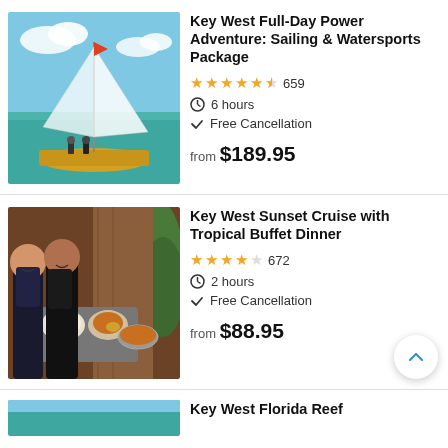[Figure (photo): Sailing catamaran on turquoise ocean water with blue sky and clouds]
Key West Full-Day Power Adventure: Sailing & Watersports Package
★★★★½ 659
🕐 6 hours
✓ Free Cancellation
from $189.95
[Figure (photo): Couple smiling at buffet dinner with plates of food]
Key West Sunset Cruise with Tropical Buffet Dinner
★★★★½ 672
🕐 2 hours
✓ Free Cancellation
from $88.95
Key West Florida Reef